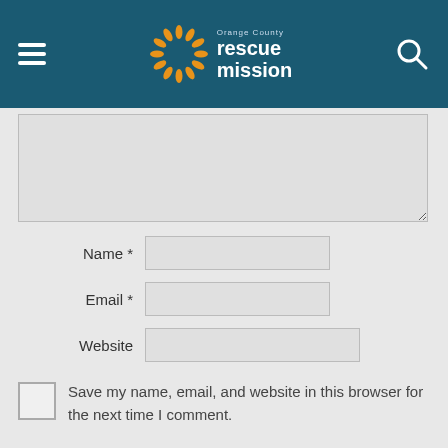[Figure (logo): Orange County Rescue Mission logo with orange sunburst icon and teal text on dark teal navigation header bar, with hamburger menu on left and search icon on right]
Name *
Email *
Website
Save my name, email, and website in this browser for the next time I comment.